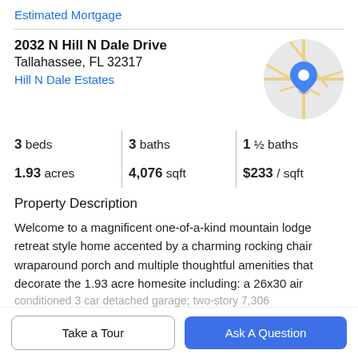Estimated Mortgage
2032 N Hill N Dale Drive
Tallahassee, FL 32317
Hill N Dale Estates
[Figure (map): Circular map thumbnail showing a street map with a blue location pin marker]
| Beds | Baths | Half Baths |
| --- | --- | --- |
| 3 beds | 3 baths | 1 ½ baths |
| 1.93 acres | 4,076 sqft | $233 / sqft |
Property Description
Welcome to a magnificent one-of-a-kind mountain lodge retreat style home accented by a charming rocking chair wraparound porch and multiple thoughtful amenities that decorate the 1.93 acre homesite including: a 26x30 air conditioned 3 car detached garage; two-story 7,306